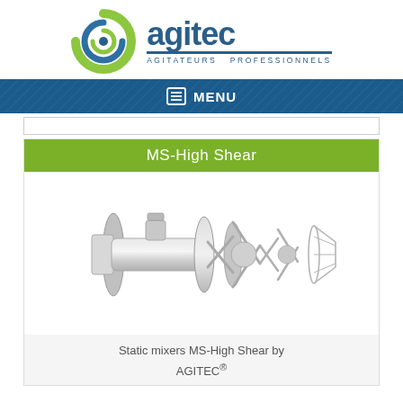[Figure (logo): Agitec logo with green swirl icon and blue 'agitec' text, subtitle 'AGITATEURS PROFESSIONNELS']
MENU
[Figure (photo): 3D rendering of MS-High Shear static mixer components — cylindrical body with flanges and mixing elements disassembled]
Static mixers MS-High Shear by AGITEC®
MS-High Shear